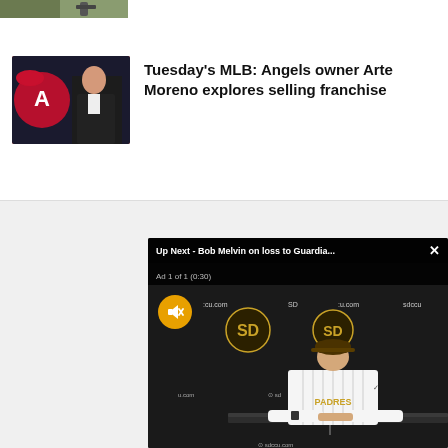[Figure (photo): Partial top strip of a baseball batter photo, cropped at top of page]
[Figure (photo): Thumbnail of Angels owner Arte Moreno in a suit with red Angels logo in background]
Tuesday's MLB: Angels owner Arte Moreno explores selling franchise
[Figure (screenshot): Video player overlay with title 'Up Next - Bob Melvin on loss to Guardia...' showing Ad 1 of 1 (0:30), with a muted icon and San Diego Padres press conference scene with coach at table in front of Padres/sdccu.com branded backdrop]